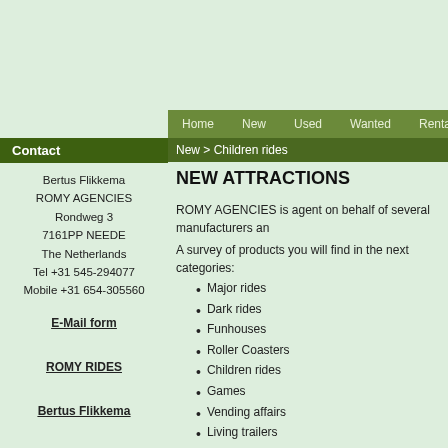Home | New | Used | Wanted | Rentals
New > Children rides
Contact
Bertus Flikkema
ROMY AGENCIES
Rondweg 3
7161PP NEEDE
The Netherlands
Tel +31 545-294077
Mobile +31 654-305560
E-Mail form
ROMY RIDES
Bertus Flikkema
Developed by
NEW ATTRACTIONS
ROMY AGENCIES is agent on behalf of several manufacturers an...
A survey of products you will find in the next categories:
Major rides
Dark rides
Funhouses
Roller Coasters
Children rides
Games
Vending affairs
Living trailers
Cash-boxes
Sound systems
Figures/props for children rides
Salto trampolines
and all other kind of equipment related to the amusement...
For further information contact us at sales@romyrides.com
For further details or more pictures of the offered objects here... number.
2400    CAROUSEL.    On t... piec...